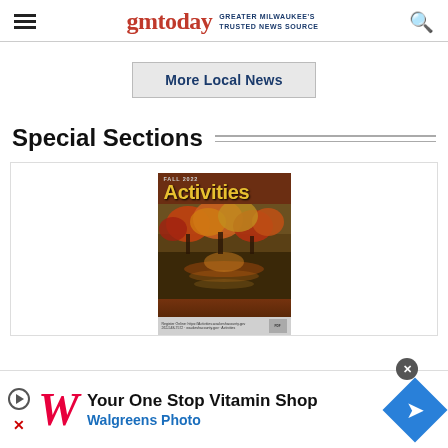gmtoday GREATER MILWAUKEE'S TRUSTED NEWS SOURCE
More Local News
Special Sections
[Figure (photo): Cover of Fall 2022 Activities publication showing autumn foliage and a nature scene with text 'Activities' in yellow/gold letters]
[Figure (photo): Walgreens advertisement banner: 'Your One Stop Vitamin Shop' and 'Walgreens Photo' with Walgreens logo and navigation badge icon]